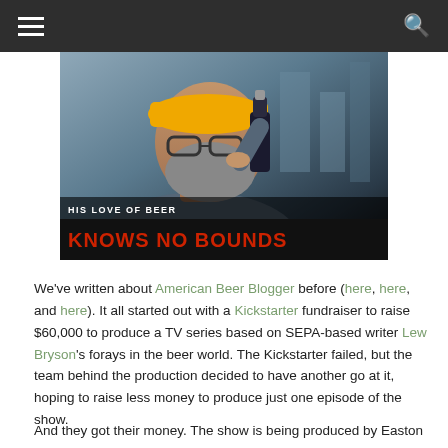[Figure (photo): A bearded man wearing a yellow hard hat and glasses drinking from a dark beer bottle. Overlay text reads 'HIS LOVE OF BEER' above and 'KNOWS NO BOUNDS' below in large red letters on a black background.]
We've written about American Beer Blogger before (here, here, and here). It all started out with a Kickstarter fundraiser to raise $60,000 to produce a TV series based on SEPA-based writer Lew Bryson's forays in the beer world.  The Kickstarter failed, but the team behind the production decided to have another go at it, hoping to raise less money to produce just one episode of the show.
And they got their money.  The show is being produced by Easton